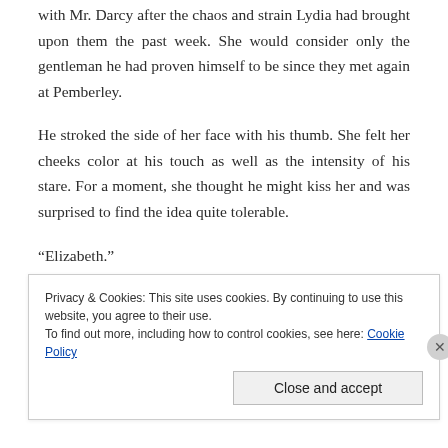with Mr. Darcy after the chaos and strain Lydia had brought upon them the past week. She would consider only the gentleman he had proven himself to be since they met again at Pemberley.
He stroked the side of her face with his thumb. She felt her cheeks color at his touch as well as the intensity of his stare. For a moment, she thought he might kiss her and was surprised to find the idea quite tolerable.
“Elizabeth.”
As he caressed her face, she knew she should
Privacy & Cookies: This site uses cookies. By continuing to use this website, you agree to their use.
To find out more, including how to control cookies, see here: Cookie Policy